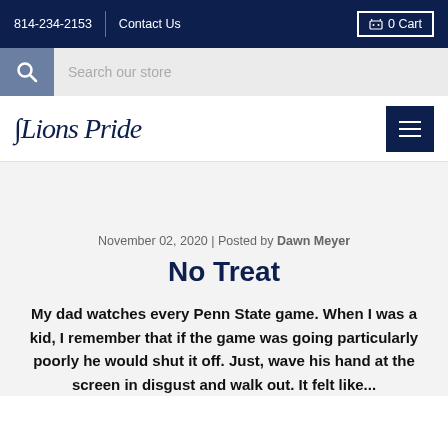814-234-2153 | Contact Us | 0 Cart
[Figure (screenshot): Search bar with magnifying glass icon and 'Search our store' placeholder text]
[Figure (logo): Lions Pride logo with stylized script text]
November 02, 2020 | Posted by Dawn Meyer
No Treat
My dad watches every Penn State game. When I was a kid, I remember that if the game was going particularly poorly he would shut it off. Just, wave his hand at the screen in disgust and walk out. It felt like...